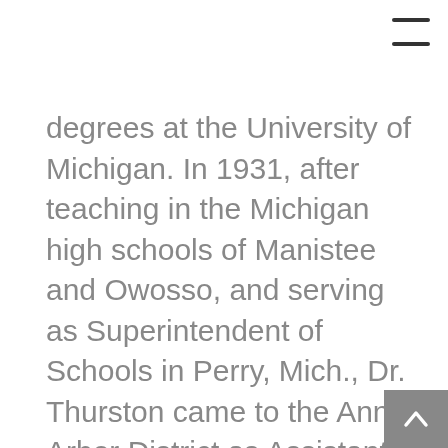degrees at the University of Michigan. In 1931, after teaching in the Michigan high schools of Manistee and Owosso, and serving as Superintendent of Schools in Perry, Mich., Dr. Thurston came to the Ann Arbor District as Assistant Superintendent of Schools and Treasurer of the Board of Education.

In 1935, he became Deputy Superintendent of Public Instruction for the state of Michigan. Later, in 1948, after achieving a professor's chair at the University of Pittsburgh and serving as Lecturer in education at the University of Michigan, he became Superintendent of Public Instruction for Michigan. His career